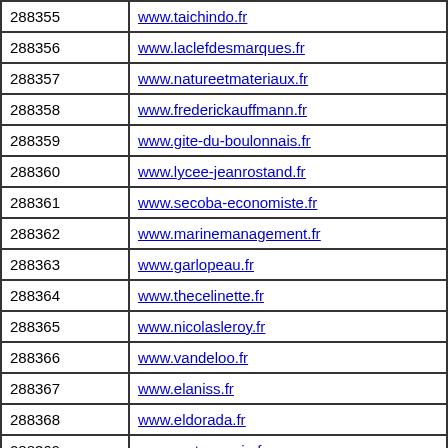| 288355 | www.taichindo.fr |
| 288356 | www.laclefdesmarques.fr |
| 288357 | www.natureetmateriaux.fr |
| 288358 | www.frederickauffmann.fr |
| 288359 | www.gite-du-boulonnais.fr |
| 288360 | www.lycee-jeanrostand.fr |
| 288361 | www.secoba-economiste.fr |
| 288362 | www.marinemanagement.fr |
| 288363 | www.garlopeau.fr |
| 288364 | www.thecelinette.fr |
| 288365 | www.nicolasleroy.fr |
| 288366 | www.vandeloo.fr |
| 288367 | www.elaniss.fr |
| 288368 | www.eldorada.fr |
| 288369 | www.metronomie.fr |
| 288370 |  |